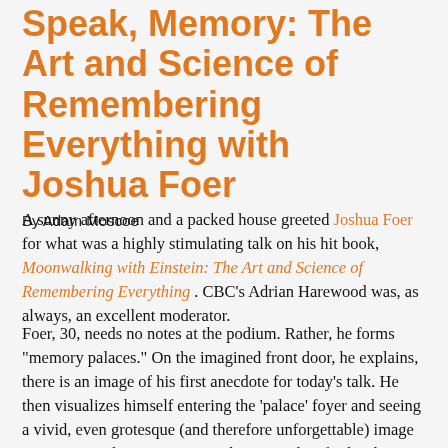Speak, Memory: The Art and Science of Remembering Everything with Joshua Foer
By Adam Moscoe
A sunny afternoon and a packed house greeted Joshua Foer for what was a highly stimulating talk on his hit book, Moonwalking with Einstein: The Art and Science of Remembering Everything . CBC's Adrian Harewood was, as always, an excellent moderator.
Foer, 30, needs no notes at the podium. Rather, he forms "memory palaces." On the imagined front door, he explains, there is an image of his first anecdote for today's talk. He then visualizes himself entering the 'palace' foyer and seeing a vivid, even grotesque (and therefore unforgettable) image representing the next topic. And so on and so forth. This, we learn, was how